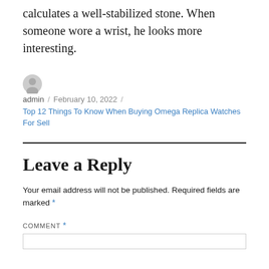calculates a well-stabilized stone. When someone wore a wrist, he looks more interesting.
admin / February 10, 2022 / Top 12 Things To Know When Buying Omega Replica Watches For Sell
Leave a Reply
Your email address will not be published. Required fields are marked *
COMMENT *